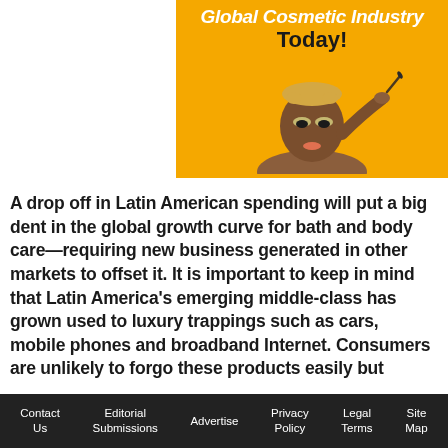[Figure (illustration): Advertisement banner with yellow/orange background showing a Black woman with short blonde hair applying mascara, with italic bold white text 'Global Cosmetic Industry' and bold black text 'Today!']
A drop off in Latin American spending will put a big dent in the global growth curve for bath and body care—requiring new business generated in other markets to offset it. It is important to keep in mind that Latin America's emerging middle-class has grown used to luxury trappings such as cars, mobile phones and broadband Internet. Consumers are unlikely to forgo these products easily but
Contact Us | Editorial Submissions | Advertise | Privacy Policy | Legal Terms | Site Map